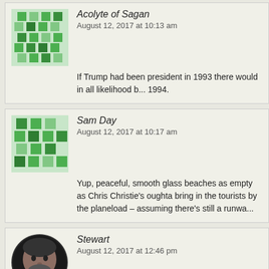Acolyte of Sagan
August 12, 2017 at 10:13 am
If Trump had been president in 1993 there would in all likelihood b... 1994.
Sam Day
August 12, 2017 at 10:17 am
Yup, peaceful, smooth glass beaches as empty as Chris Christie's oughta bring in the tourists by the planeload – assuming there's still a runwa...
Stewart
August 12, 2017 at 12:46 pm
https://www.facebook.com/144310995587370/photos/a.271728577370/162974040413711080/?type=3&theater
Kristjan
August 13, 2017 at 6:28 am